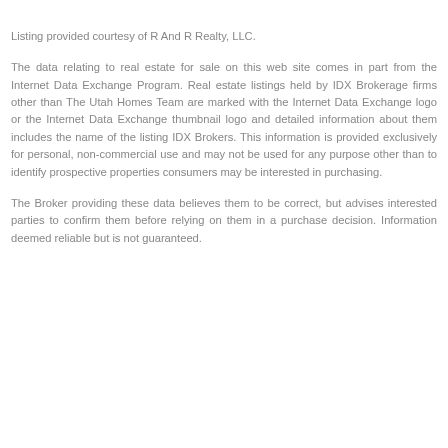Listing provided courtesy of R And R Realty, LLC.
The data relating to real estate for sale on this web site comes in part from the Internet Data Exchange Program. Real estate listings held by IDX Brokerage firms other than The Utah Homes Team are marked with the Internet Data Exchange logo or the Internet Data Exchange thumbnail logo and detailed information about them includes the name of the listing IDX Brokers. This information is provided exclusively for personal, non-commercial use and may not be used for any purpose other than to identify prospective properties consumers may be interested in purchasing.
The Broker providing these data believes them to be correct, but advises interested parties to confirm them before relying on them in a purchase decision. Information deemed reliable but is not guaranteed.